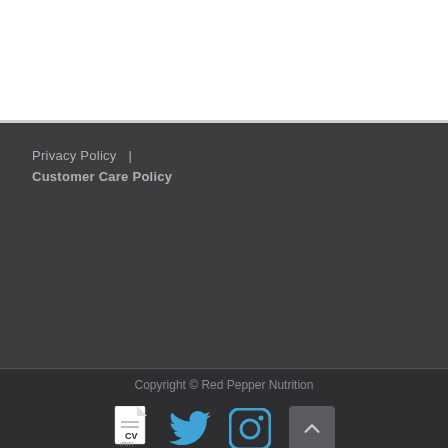Privacy Policy   |   Customer Care Policy
Copyright © Red Pepper Nutrition
[Figure (illustration): Row of social/utility icons: CV PDF icon, Twitter bird icon, Instagram camera icon, scroll-to-top chevron button]